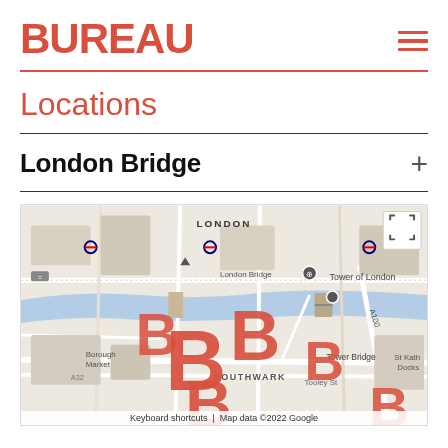BUREAU
Locations
London Bridge
[Figure (map): Google Maps screenshot showing London Bridge area with Bureau logo B marks overlaid on the map. Shows landmarks including Tower of London, Tower Bridge, Borough Market, Southwark, Tooley St, St Katharine Docks, A100, A320. Map data ©2022 Google.]